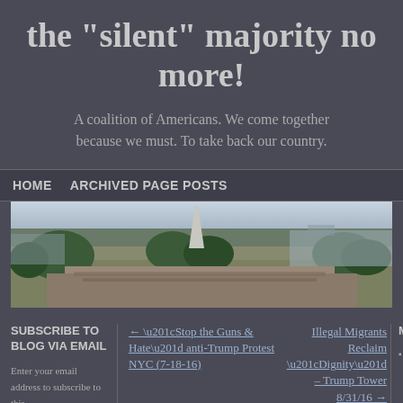the "silent" majority no more!
A coalition of Americans. We come together because we must. To take back our country.
HOME   ARCHIVED PAGE POSTS
[Figure (photo): Aerial/panoramic photo of a large outdoor crowd gathering, with trees and monuments visible, appearing to be a political rally in Washington D.C.]
SUBSCRIBE TO BLOG VIA EMAIL
Enter your email address to subscribe to this
← “Stop the Guns & Hate” anti-Trump Protest NYC (7-18-16)
Illegal Migrants Reclaim “Dignity” – Trump Tower 8/31/16 →
META
Log in